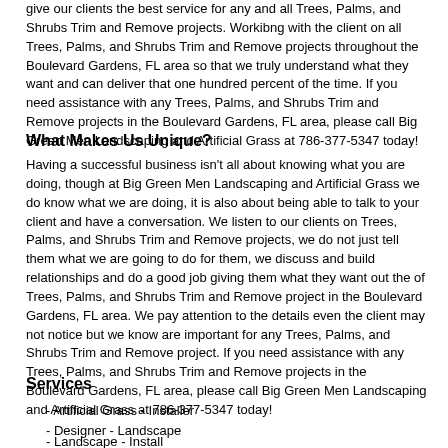give our clients the best service for any and all Trees, Palms, and Shrubs Trim and Remove projects. Workibng with the client on all Trees, Palms, and Shrubs Trim and Remove projects throughout the Boulevard Gardens, FL area so that we truly understand what they want and can deliver that one hundred percent of the time. If you need assistance with any Trees, Palms, and Shrubs Trim and Remove projects in the Boulevard Gardens, FL area, please call Big Green Men Landscaping and Artificial Grass at 786-377-5347 today!
What Makes Us Unique?
Having a successful business isn't all about knowing what you are doing, though at Big Green Men Landscaping and Artificial Grass we do know what we are doing, it is also about being able to talk to your client and have a conversation. We listen to our clients on Trees, Palms, and Shrubs Trim and Remove projects, we do not just tell them what we are going to do for them, we discuss and build relationships and do a good job giving them what they want out the of Trees, Palms, and Shrubs Trim and Remove project in the Boulevard Gardens, FL area. We pay attention to the details even the client may not notice but we know are important for any Trees, Palms, and Shrubs Trim and Remove project. If you need assistance with any Trees, Palms, and Shrubs Trim and Remove projects in the Boulevard Gardens, FL area, please call Big Green Men Landscaping and Artificial Grass at 786-377-5347 today!
Services
- Artificial Grass - Installer
- Designer - Landscape
- Landscape - Install